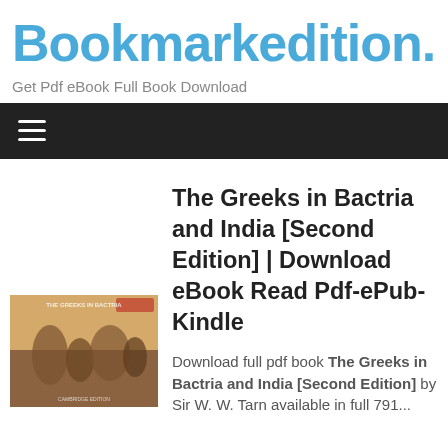Bookmarkedition.
Get Pdf eBook Full Book Download
[Figure (screenshot): Navigation bar with hamburger menu icon on dark background]
The Greeks in Bactria and India [Second Edition] | Download eBook Read Pdf-ePub-Kindle
[Figure (illustration): Book cover thumbnail for The Greeks in Bactria and India Second Edition]
Download full pdf book The Greeks in Bactria and India [Second Edition] by Sir W. W. Tarn available in full 791...